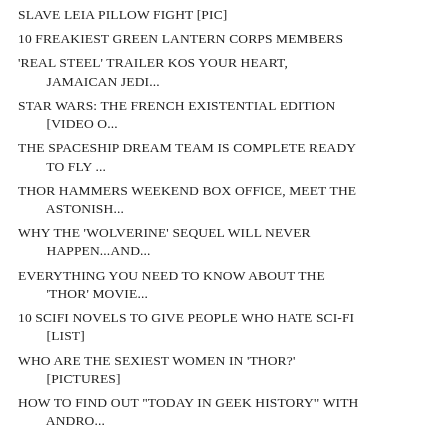SLAVE LEIA PILLOW FIGHT [PIC]
10 FREAKIEST GREEN LANTERN CORPS MEMBERS
'REAL STEEL' TRAILER KOS YOUR HEART, JAMAICAN JEDI...
STAR WARS: THE FRENCH EXISTENTIAL EDITION [VIDEO O...
THE SPACESHIP DREAM TEAM IS COMPLETE READY TO FLY ...
THOR HAMMERS WEEKEND BOX OFFICE, MEET THE ASTONISH...
WHY THE 'WOLVERINE' SEQUEL WILL NEVER HAPPEN...AND...
EVERYTHING YOU NEED TO KNOW ABOUT THE 'THOR' MOVIE...
10 SCIFI NOVELS TO GIVE PEOPLE WHO HATE SCI-FI [LIST]
WHO ARE THE SEXIEST WOMEN IN 'THOR?' [PICTURES]
HOW TO FIND OUT "TODAY IN GEEK HISTORY" WITH ANDRO...